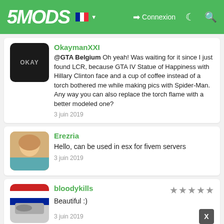5MODS — Connexion
OkaymanXXI
@GTA Belgium Oh yeah! Was waiting for it since I just found LCR, because GTA IV Statue of Happiness with Hillary Clinton face and a cup of coffee instead of a torch bothered me while making pics with Spider-Man. Any way you can also replace the torch flame with a better modeled one?
3 juin 2019
Erezria
Hello, can be used in esx for fivem servers
3 juin 2019
bloodykills
Beautiful :)
3 juin 2019